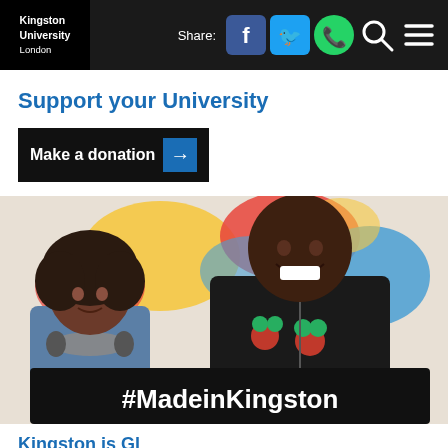Kingston University London | Share: [Facebook] [Twitter] [WhatsApp] [Search] [Menu]
Support your University
Make a donation →
[Figure (photo): Two young people holding a black banner that reads #MadeinKingston, posing in front of a colorful abstract mural. One wears headphones and a denim jacket; the other wears a black turtleneck with floral embroidery.]
Kingston is Global...